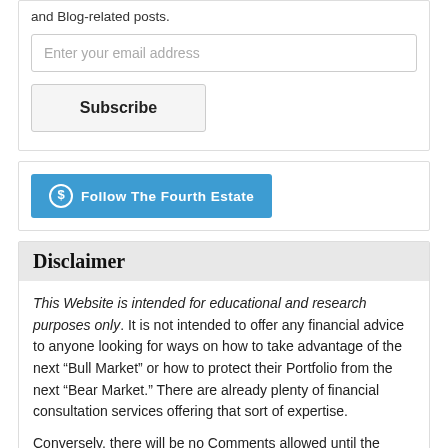and Blog-related posts.
Enter your email address
Subscribe
Follow The Fourth Estate
Disclaimer
This Website is intended for educational and research purposes only. It is not intended to offer any financial advice to anyone looking for ways on how to take advantage of the next “Bull Market” or how to protect their Portfolio from the next “Bear Market.” There are already plenty of financial consultation services offering that sort of expertise.
Conversely, there will be no Comments allowed until the